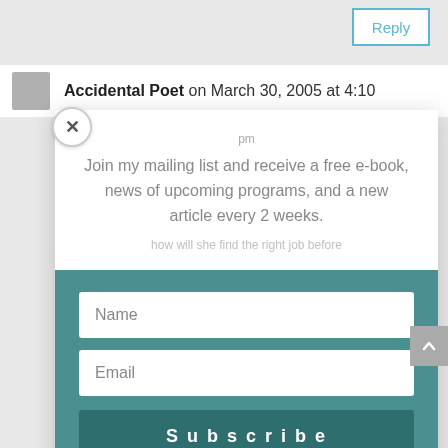Reply
Accidental Poet on March 30, 2005 at 4:10
Join my mailing list and receive a free e-book, news of upcoming programs, and a new article every 2 weeks.
Name
Email
Subscribe